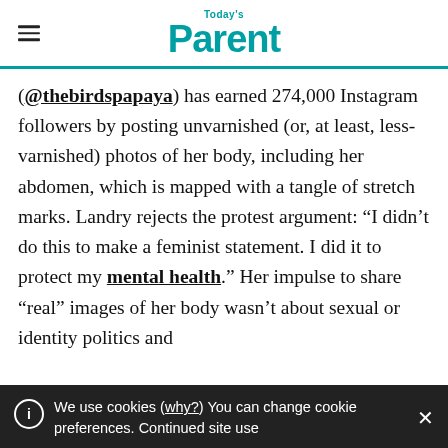Today's Parent
(@thebirdspapaya) has earned 274,000 Instagram followers by posting unvarnished (or, at least, less-varnished) photos of her body, including her abdomen, which is mapped with a tangle of stretch marks. Landry rejects the protest argument: “I didn’t do this to make a feminist statement. I did it to protect my mental health.” Her impulse to share “real” images of her body wasn’t about sexual or identity politics and
We use cookies (why?) You can change cookie preferences. Continued site use